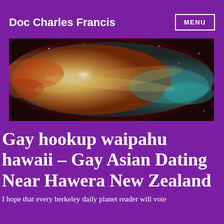Doc Charles Francis
[Figure (photo): Wide banner photo of a nebula with colorful gas clouds in orange, gold, teal, and white against a dark space background.]
Gay hookup waipahu hawaii – Gay Asian Dating Near Hawera New Zealand
I hope that every berkeley daily planet reader will vote